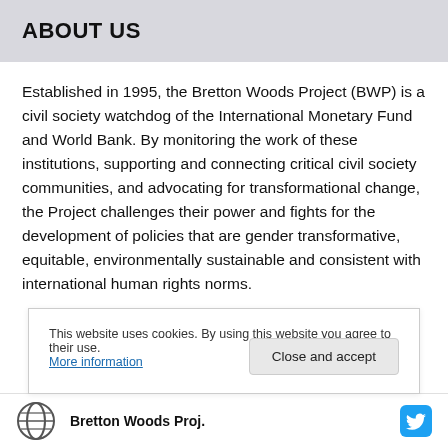ABOUT US
Established in 1995, the Bretton Woods Project (BWP) is a civil society watchdog of the International Monetary Fund and World Bank. By monitoring the work of these institutions, supporting and connecting critical civil society communities, and advocating for transformational change, the Project challenges their power and fights for the development of policies that are gender transformative, equitable, environmentally sustainable and consistent with international human rights norms.
This website uses cookies. By using this website you agree to their use. More information
Bretton Woods Proj.